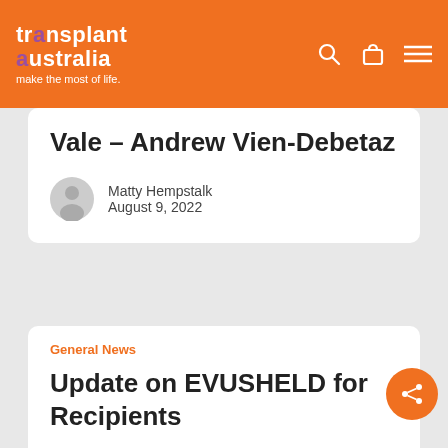transplant australia — make the most of life.
Vale – Andrew Vien-Debetaz
Matty Hempstalk
August 9, 2022
General News
Update on EVUSHELD for Recipients
Matty Hempstalk
July 25, 2022